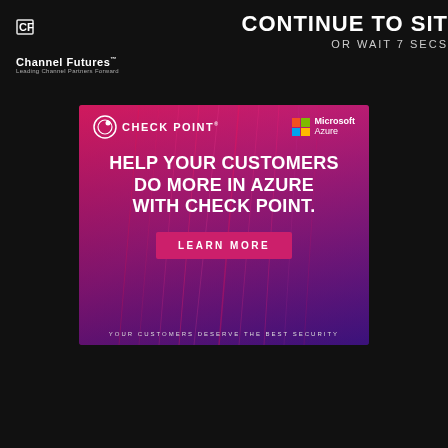[Figure (logo): Channel Futures logo — CF icon with 'Channel Futures' text and tagline 'Leading Channel Partners Forward']
CONTINUE TO SITE
OR WAIT 7 SECS
[Figure (infographic): Check Point and Microsoft Azure advertisement banner. Red/purple gradient background with streaming light lines. Check Point logo top-left, Microsoft Azure logo top-right. Large white headline: 'HELP YOUR CUSTOMERS DO MORE IN AZURE WITH CHECK POINT.' Pink 'LEARN MORE' button. Footer text: 'YOUR CUSTOMERS DESERVE THE BEST SECURITY']